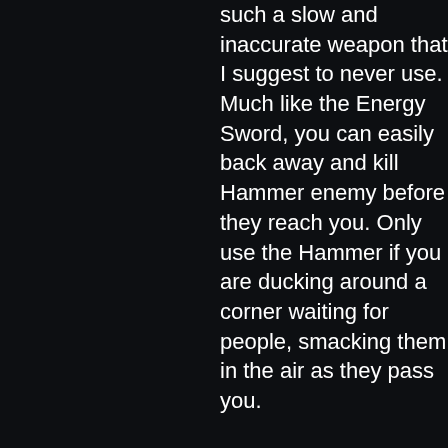such a slow and inaccurate weapon that I suggest to never use. Much like the Energy Sword, you can easily back away and kill a Hammer enemy before they reach you. Only use the Hammer if you are ducking around a corner waiting for people, smacking them in the air as they pass you.
[Figure (other): Image placeholder showing 'Sorry. This Image Is currently Unavailable' with Photobucket branding]